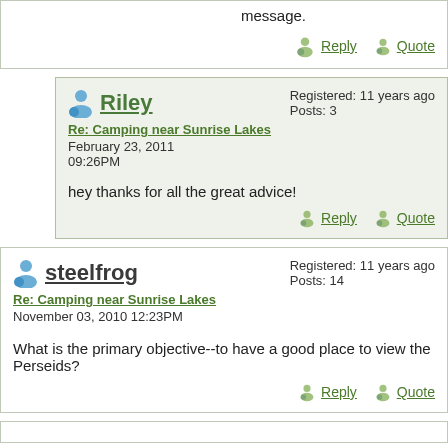solution. then contact me via private message.
Reply   Quote
Riley
Re: Camping near Sunrise Lakes
February 23, 2011 09:26PM
Registered: 11 years ago
Posts: 3
hey thanks for all the great advice!
Reply   Quote
steelfrog
Re: Camping near Sunrise Lakes
November 03, 2010 12:23PM
Registered: 11 years ago
Posts: 14
What is the primary objective--to have a good place to view the Perseids?
Reply   Quote